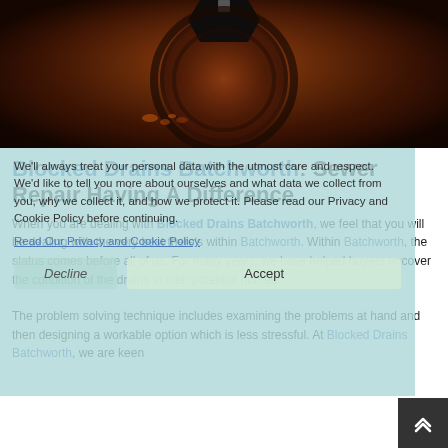[Figure (photo): Close-up photograph of a rusty drain pipe interior with a metal nut/bolt visible at the top center, showing orange-brown rust staining on dark metal surfaces]
Blocked Drains Batchworth: Sewer Repair Having A Difference
When you are dealing with Blocked Drains Batchworth, we feel that you will be dealing with the very best there's within Batchworth.< Within Batchworth, the status comes before all of us. For many years, we have helped buyers uncover the condition of the drains in their potential homes.
We'll always treat your personal data with the utmost care and respect. We'd like to tell you more about ourselves and what data we collect from you, why we collect it, and how we protect it. Please read our Privacy and Cookie Policy before continuing.
Read Our Privacy and Cookie Policy
The problem solving technique includes examining the problems at hand and then designing a workable option which is less stressful. At Blocked Drains Batchworth, we are keen